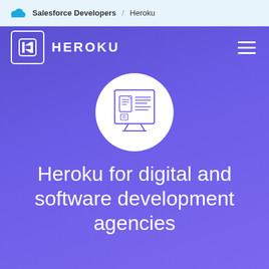Salesforce Developers / Heroku
[Figure (logo): Heroku logo with stylized H icon in a rounded square and HEROKU wordmark in white]
[Figure (illustration): White circle containing a line-art illustration of a dashboard/board with document icons and text lines]
Heroku for digital and software development agencies
A single platform to develop, deploy, and